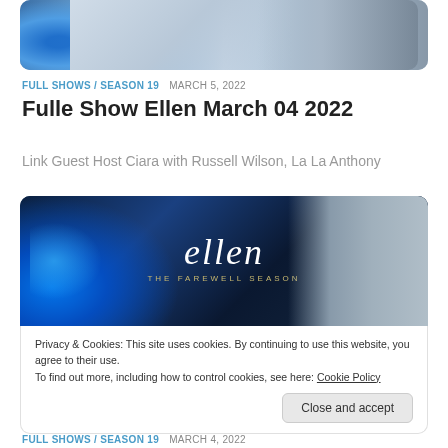[Figure (photo): Cropped photo showing people, blue streak on left side, grayscale figures on right, rounded corners]
FULL SHOWS / SEASON 19  MARCH 5, 2022
Fulle Show Ellen March 04 2022
Link Guest Host Ciara with Russell Wilson, La La Anthony
[Figure (photo): Ellen The Farewell Season promotional image with blue lighting on left, Ellen DeGeneres photo on right, script 'ellen' logo centered with 'THE FAREWELL SEASON' subtitle]
Privacy & Cookies: This site uses cookies. By continuing to use this website, you agree to their use.
To find out more, including how to control cookies, see here: Cookie Policy
Close and accept
FULL SHOWS / SEASON 19  MARCH 4, 2022